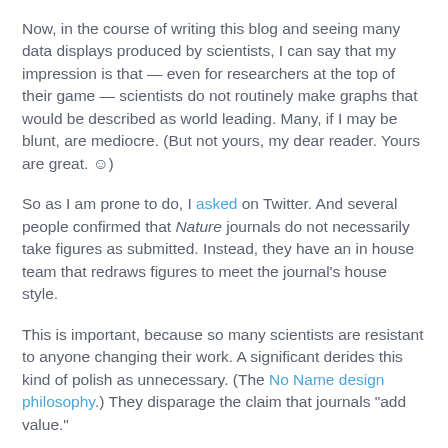Now, in the course of writing this blog and seeing many data displays produced by scientists, I can say that my impression is that — even for researchers at the top of their game — scientists do not routinely make graphs that would be described as world leading. Many, if I may be blunt, are mediocre. (But not yours, my dear reader. Yours are great. ☺)
So as I am prone to do, I asked on Twitter. And several people confirmed that Nature journals do not necessarily take figures as submitted. Instead, they have an in house team that redraws figures to meet the journal's house style.
This is important, because so many scientists are resistant to anyone changing their work. A significant derides this kind of polish as unnecessary. (The No Name design philosophy.) They disparage the claim that journals "add value."
(Of course, when journals pull back on design and only deliver the content, someone will be grumpy about that, too.)
We should not pretend that the world leading graphics that many admire are a natural outcome of scientists grappling